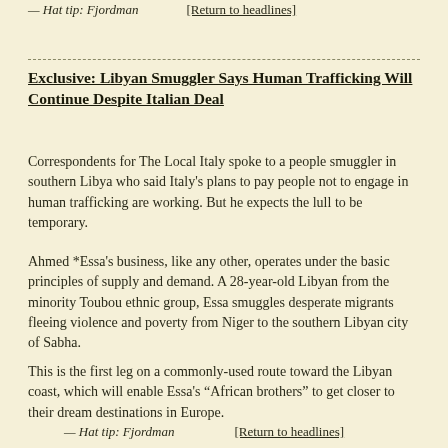— Hat tip: Fjordman    [Return to headlines]
Exclusive: Libyan Smuggler Says Human Trafficking Will Continue Despite Italian Deal
Correspondents for The Local Italy spoke to a people smuggler in southern Libya who said Italy's plans to pay people not to engage in human trafficking are working. But he expects the lull to be temporary.
Ahmed *Essa's business, like any other, operates under the basic principles of supply and demand. A 28-year-old Libyan from the minority Toubou ethnic group, Essa smuggles desperate migrants fleeing violence and poverty from Niger to the southern Libyan city of Sabha.
This is the first leg on a commonly-used route toward the Libyan coast, which will enable Essa's “African brothers” to get closer to their dream destinations in Europe.
— Hat tip: Fjordman    [Return to headlines]